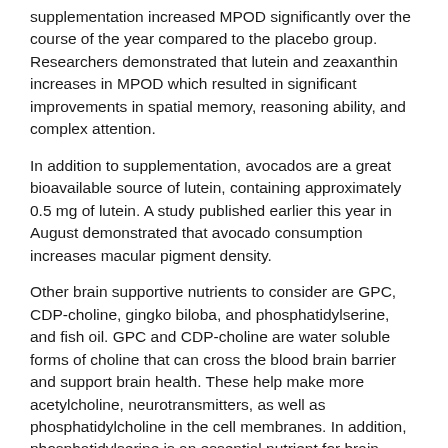supplementation increased MPOD significantly over the course of the year compared to the placebo group. Researchers demonstrated that lutein and zeaxanthin increases in MPOD which resulted in significant improvements in spatial memory, reasoning ability, and complex attention.
In addition to supplementation, avocados are a great bioavailable source of lutein, containing approximately 0.5 mg of lutein. A study published earlier this year in August demonstrated that avocado consumption increases macular pigment density.
Other brain supportive nutrients to consider are GPC, CDP-choline, gingko biloba, and phosphatidylserine, and fish oil. GPC and CDP-choline are water soluble forms of choline that can cross the blood brain barrier and support brain health. These help make more acetylcholine, neurotransmitters, as well as phosphatidylcholine in the cell membranes. In addition, phosphatidylserine is an essential nutrient for brain function and is not found in the diet.
By Michael Jurgelewicz, DC, DACBN, DCBCN, CNS